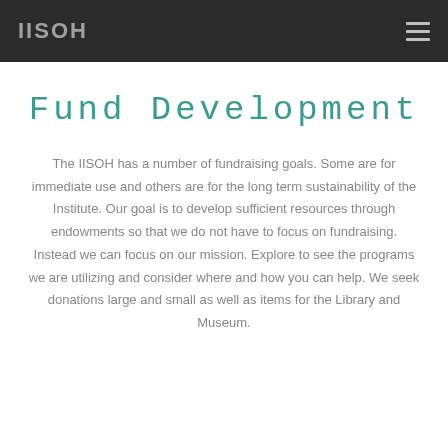IISOH
Fund Development
The IISOH has a number of fundraising goals. Some are for immediate use and others are for the long term sustainability of the Institute. Our goal is to develop sufficient resources through endowments so that we do not have to focus on fundraising. Instead we can focus on our mission. Explore to see the programs we are utilizing and consider where and how you can help. We seek donations large and small as well as items for the Library and Museum.